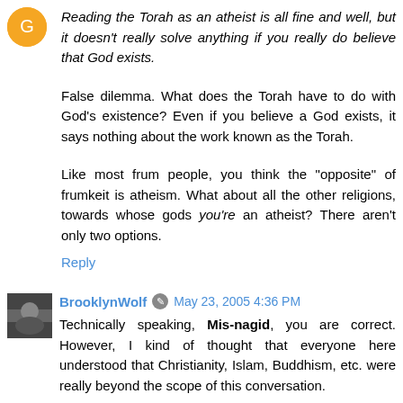Reading the Torah as an atheist is all fine and well, but it doesn't really solve anything if you really do believe that God exists.
False dilemma. What does the Torah have to do with God's existence? Even if you believe a God exists, it says nothing about the work known as the Torah.
Like most frum people, you think the "opposite" of frumkeit is atheism. What about all the other religions, towards whose gods you're an atheist? There aren't only two options.
Reply
BrooklynWolf  May 23, 2005 4:36 PM
Technically speaking, Mis-nagid, you are correct. However, I kind of thought that everyone here understood that Christianity, Islam, Buddhism, etc. were really beyond the scope of this conversation.